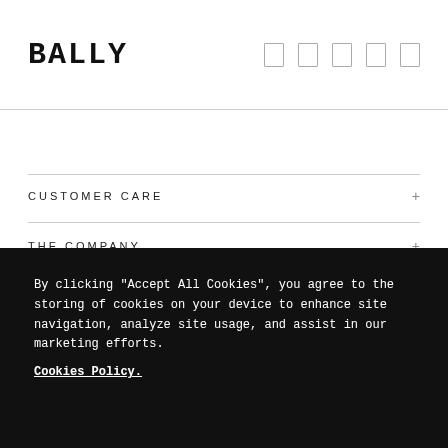BALLY
CUSTOMER CARE
THE COMPANY
Sign up to the newsletter for our latest stories, ideas and offers.
Enter your email
By clicking "Accept All Cookies", you agree to the storing of cookies on your device to enhance site navigation, analyze site usage, and assist in our marketing efforts.
Cookies Policy.